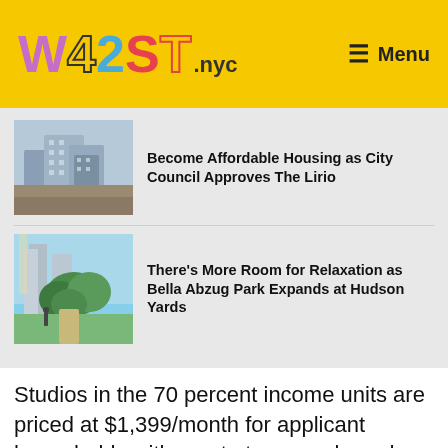W42ST.nyc — Menu
Become Affordable Housing as City Council Approves The Lirio
There's More Room for Relaxation as Bella Abzug Park Expands at Hudson Yards
Studios in the 70 percent income units are priced at $1,399/month for applicant households with one to two people and income ranges between $47,966 and $74,760. One bedrooms in the same